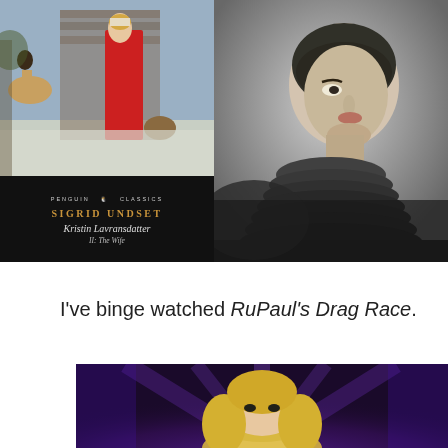[Figure (photo): Two images side by side: left is a Penguin Classics book cover for 'Kristin Lavransdatter II: The Wife' by Sigrid Undset showing a woman in a red dress in a medieval winter scene; right is a black and white portrait photograph of a young woman (Sigrid Undset) in profile]
I've binge watched RuPaul's Drag Race.
[Figure (photo): Partial image of RuPaul on a colorful stage with purple and blue lighting, showing from shoulders up with blonde hair]